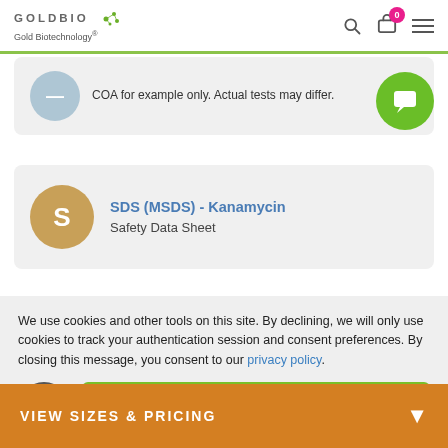GOLDBIO Gold Biotechnology®
COA for example only. Actual tests may differ.
SDS (MSDS) - Kanamycin
Safety Data Sheet
We use cookies and other tools on this site. By declining, we will only use cookies to track your authentication session and consent preferences. By closing this message, you consent to our privacy policy.
ACCEPT AND CLOSE
VIEW SIZES & PRICING